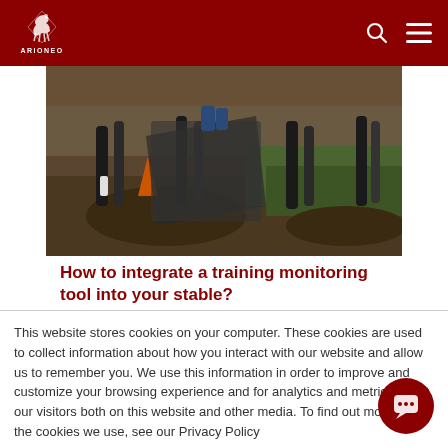ARIONEO
[Figure (photo): Horses and riders photographed from low angle, hooves and legs visible on a dirt/grass race track, with what appears to be a timing/photo equipment in the foreground]
How to integrate a training monitoring tool into your stable?
This website stores cookies on your computer. These cookies are used to collect information about how you interact with our website and allow us to remember you. We use this information in order to improve and customize your browsing experience and for analytics and metrics about our visitors both on this website and other media. To find out more about the cookies we use, see our Privacy Policy
Accept All